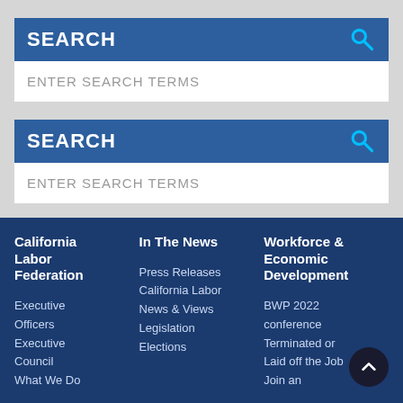SEARCH
ENTER SEARCH TERMS
SEARCH
ENTER SEARCH TERMS
California Labor Federation
Executive Officers
Executive Council
What We Do

In The News
Press Releases
California Labor News & Views
Legislation
Elections

Workforce & Economic Development
BWP 2022 conference
Terminated or Laid off the Job
Join an